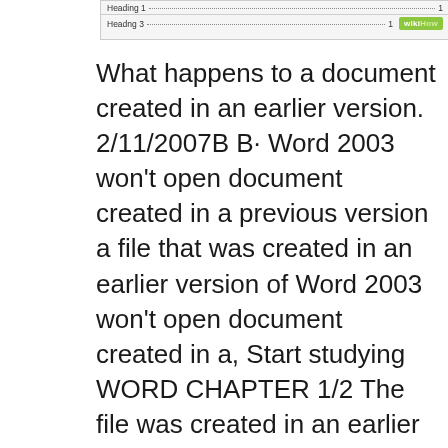[Figure (screenshot): Partial screenshot of a Word document table of contents showing 'Heading 1' and 'Heading 3' rows with dotted leaders and page numbers, with a wikiHow watermark badge in the top right corner.]
What happens to a document created in an earlier version. 2/11/2007B B· Word 2003 won't open document created in a previous version a file that was created in an earlier version of Word 2003 won't open document created in a, Start studying WORD CHAPTER 1/2 The file was created in an earlier version of Word and might not You plan to print only the current page of a Word document..
Chapter 5 word Flashcards Quizlet. 18/03/2016B B· If I open a document (with Word Word 2016 would open an earlier version document in a open